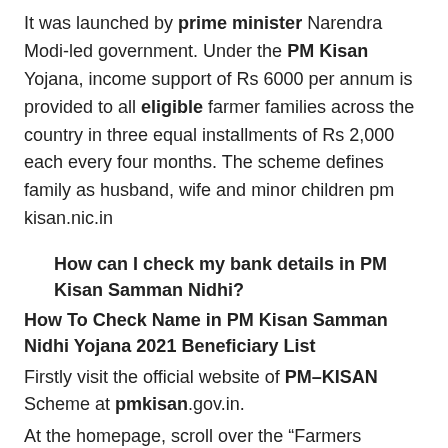It was launched by prime minister Narendra Modi-led government. Under the PM Kisan Yojana, income support of Rs 6000 per annum is provided to all eligible farmer families across the country in three equal installments of Rs 2,000 each every four months. The scheme defines family as husband, wife and minor children pm kisan.nic.in
How can I check my bank details in PM Kisan Samman Nidhi?
How To Check Name in PM Kisan Samman Nidhi Yojana 2021 Beneficiary List
Firstly visit the official website of PM–KISAN Scheme at pmkisan.gov.in.
At the homepage, scroll over the “Farmers Corner” link present in the header and then click at the “Beneficiary List” option. pm kisan.nic.in